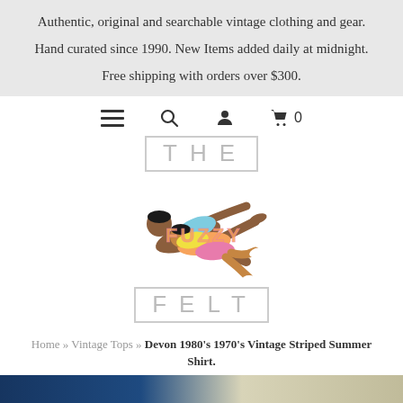Authentic, original and searchable vintage clothing and gear.
Hand curated since 1990. New Items added daily at midnight.
Free shipping with orders over $300.
[Figure (logo): Navigation bar with hamburger menu, search icon, user account icon, and cart icon showing 0 items, above the 'THE FUZZY FELT' logo with illustrated figures]
Home » Vintage Tops » Devon 1980's 1970's Vintage Striped Summer Shirt.
[Figure (photo): Partial view of a vintage striped summer shirt product photo]